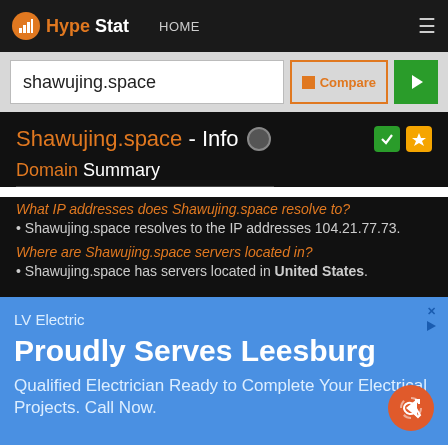HypeStat HOME
shawujing.space
Shawujing.space - Info
Domain Summary
What IP addresses does Shawujing.space resolve to?
• Shawujing.space resolves to the IP addresses 104.21.77.73.
Where are Shawujing.space servers located in?
• Shawujing.space has servers located in United States.
[Figure (screenshot): Advertisement banner for LV Electric: 'Proudly Serves Leesburg. Qualified Electrician Ready to Complete Your Electrical Projects. Call Now.']